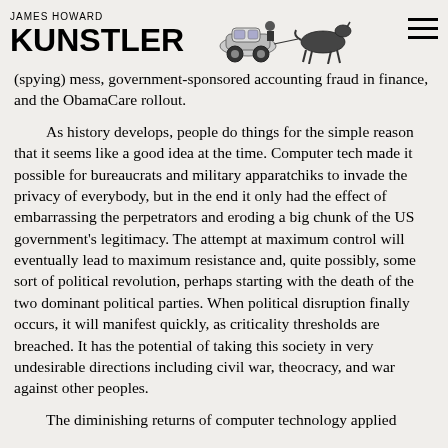JAMES HOWARD KUNSTLER
(spying) mess, government-sponsored accounting fraud in finance, and the ObamaCare rollout.

As history develops, people do things for the simple reason that it seems like a good idea at the time. Computer tech made it possible for bureaucrats and military apparatchiks to invade the privacy of everybody, but in the end it only had the effect of embarrassing the perpetrators and eroding a big chunk of the US government's legitimacy. The attempt at maximum control will eventually lead to maximum resistance and, quite possibly, some sort of political revolution, perhaps starting with the death of the two dominant political parties. When political disruption finally occurs, it will manifest quickly, as criticality thresholds are breached. It has the potential of taking this society in very undesirable directions including civil war, theocracy, and war against other peoples.

The diminishing returns of computer technology applied